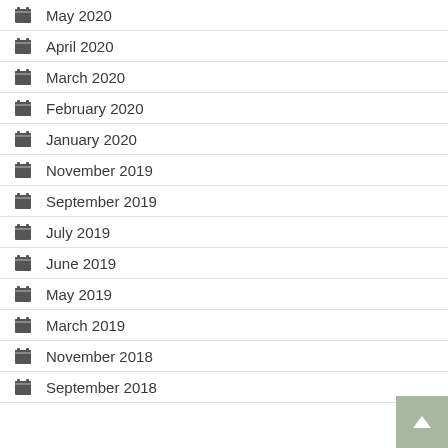May 2020
April 2020
March 2020
February 2020
January 2020
November 2019
September 2019
July 2019
June 2019
May 2019
March 2019
November 2018
September 2018